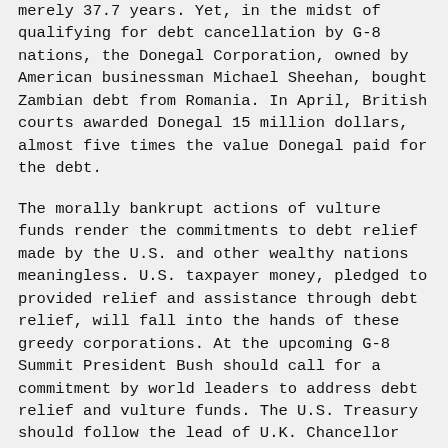merely 37.7 years. Yet, in the midst of qualifying for debt cancellation by G-8 nations, the Donegal Corporation, owned by American businessman Michael Sheehan, bought Zambian debt from Romania. In April, British courts awarded Donegal 15 million dollars, almost five times the value Donegal paid for the debt.
The morally bankrupt actions of vulture funds render the commitments to debt relief made by the U.S. and other wealthy nations meaningless. U.S. taxpayer money, pledged to provided relief and assistance through debt relief, will fall into the hands of these greedy corporations. At the upcoming G-8 Summit President Bush should call for a commitment by world leaders to address debt relief and vulture funds. The U.S. Treasury should follow the lead of U.K. Chancellor Gordon Brown and limit the awards vulture funds can claim for these debts. Congress must examine this practice and its impact on our overall foreign policy interests. The international